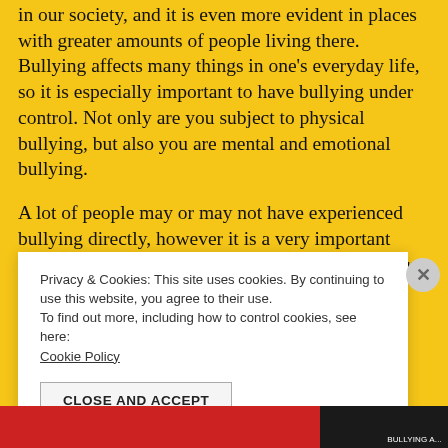in our society, and it is even more evident in places with greater amounts of people living there. Bullying affects many things in one's everyday life, so it is especially important to have bullying under control. Not only are you subject to physical bullying, but also you are mental and emotional bullying.
A lot of people may or may not have experienced bullying directly, however it is a very important issue. Interestingly enough, a recent study came out to show that nearly one in every five kids in New York
Privacy & Cookies: This site uses cookies. By continuing to use this website, you agree to their use.
To find out more, including how to control cookies, see here:
Cookie Policy
CLOSE AND ACCEPT
[Figure (other): Bottom strip showing partial image with red and dark/black sections, partially cropped]